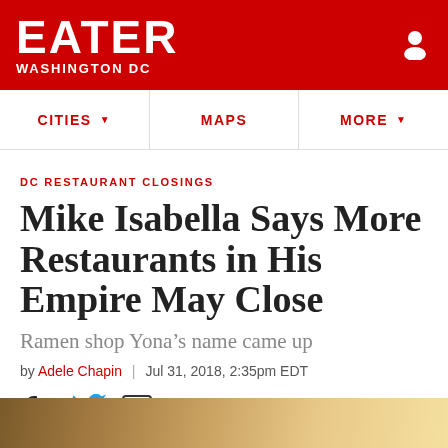EATER WASHINGTON DC
CITIES MAPS MORE
DC RESTAURANT CLOSINGS
Mike Isabella Says More Restaurants in His Empire May Close
Ramen shop Yona's name came up
by Adele Chapin | Jul 31, 2018, 2:35pm EDT
[Figure (other): Social share icons: Facebook, Twitter, and generic share button with SHARE label]
[Figure (photo): Bottom strip of a restaurant interior photo]